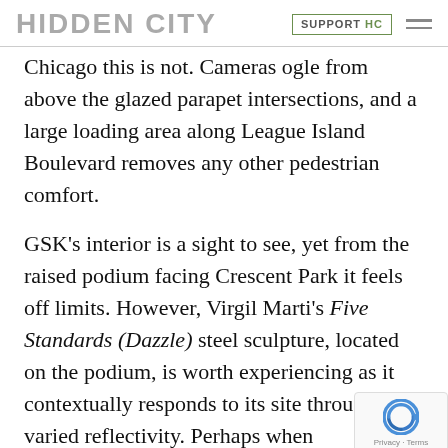HIDDEN CITY | SUPPORT HC
Chicago this is not. Cameras ogle from above the glazed parapet intersections, and a large loading area along League Island Boulevard removes any other pedestrian comfort.
GSK's interior is a sight to see, yet from the raised podium facing Crescent Park it feels off limits. However, Virgil Marti's Five Standards (Dazzle) steel sculpture, located on the podium, is worth experiencing as it contextually responds to its site through own varied reflectivity. Perhaps when